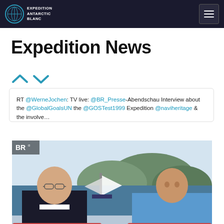EXPEDITION ANTARCTIC BLANC
Expedition News
[Figure (other): Up and down chevron arrows in teal/cyan color]
RT @WerneJochen: TV live: @BR_Presse-Abendschau Interview about the @GlobalGoalsUN the @GOSTest1999 Expedition @naviheritage & the involve…
[Figure (photo): Two men in a TV studio setting — one in naval uniform (black jacket) and one in blue polo shirt — with a sailboat and coastal scenery shown on a screen behind them. BR logo visible top-left of the inset screen.]